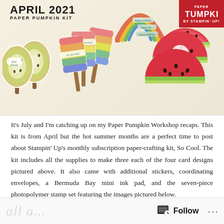[Figure (photo): April 2021 Paper Pumpkin Kit product photo showing colorful summer-themed card designs: kiwi-shaped popsicle cards on the left, rainbow gradient popsicle cards in the center, and watermelon slice cards on the right, with a red Paper Pumpkin logo box in the top right corner and the text 'APRIL 2021 PAPER PUMPKIN KIT' in the top left.]
It's July and I'm catching up on my Paper Pumpkin Workshop recaps. This kit is from April but the hot summer months are a perfect time to post about Stampin' Up's monthly subscription paper-crafting kit, So Cool. The kit includes all the supplies to make three each of the four card designs pictured above. It also came with additional stickers, coordinating envelopes, a Bermuda Bay mini ink pad, and the seven-piece photopolymer stamp set featuring the images pictured below.
Follow ···